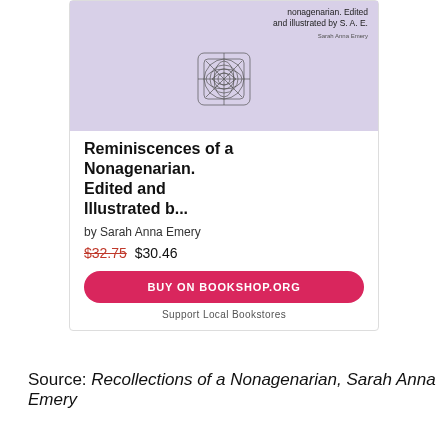[Figure (screenshot): Book listing card for 'Reminiscences of a Nonagenarian. Edited and Illustrated b...' by Sarah Anna Emery. Shows book cover with lavender background and decorative pattern, price $32.75 crossed out and $30.46, BUY ON BOOKSHOP.ORG button, and 'Support Local Bookstores' text.]
Source: Recollections of a Nonagenarian, Sarah Anna Emery